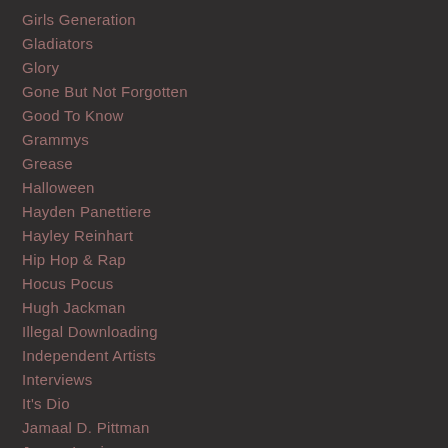Girls Generation
Gladiators
Glory
Gone But Not Forgotten
Good To Know
Grammys
Grease
Halloween
Hayden Panettiere
Hayley Reinhart
Hip Hop & Rap
Hocus Pocus
Hugh Jackman
Illegal Downloading
Independent Artists
Interviews
It's Dio
Jamaal D. Pittman
James Lewis
James Morrison